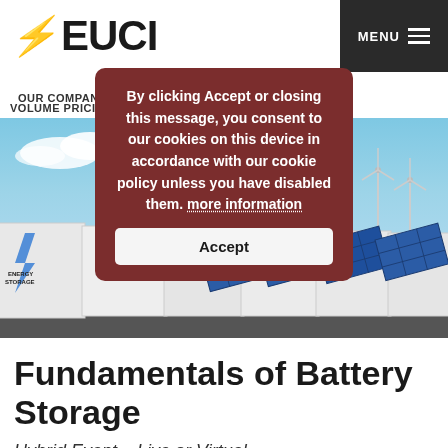[Figure (logo): EUCI logo with red lightning bolt and dark text]
OUR COMPANY   PROGRAMS   ABOUT   BLOG   LOGIN
VOLUME PRICING
[Figure (photo): Hero image showing battery energy storage containers and solar panels with wind turbines against a blue sky]
By clicking Accept or closing this message, you consent to our cookies on this device in accordance with our cookie policy unless you have disabled them. more information
Accept
Fundamentals of Battery Storage
Hybrid Event – Live or Virtual